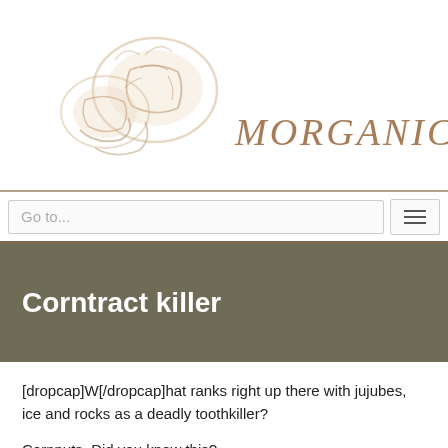[Figure (logo): Morganica logo with a hand-drawn illustration of nuts/seeds and stylized handwritten text 'MORGANICA']
Go to...
Corntract killer
[dropcap]W[/dropcap]hat ranks right up there with jujubes, ice and rocks as a deadly toothkiller?
Cornnuts. Did you know this?